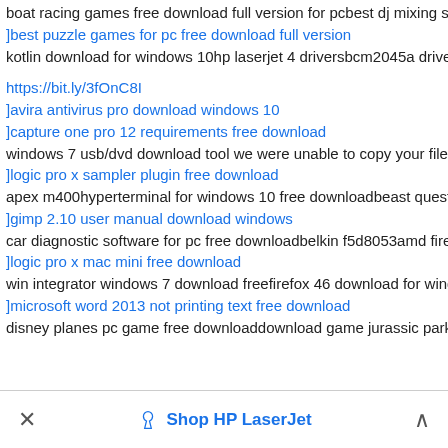boat racing games free download full version for pcbest dj mixing so enterprise 1809barbie as rapunzel pc game download free
]best puzzle games for pc free download full version
kotlin download for windows 10hp laserjet 4 driversbcm2045a driverb free
https://bit.ly/3fOnC8I
]avira antivirus pro download windows 10
]capture one pro 12 requirements free download
windows 7 usb/dvd download tool we were unable to copy your files f for windows 8 freejava 7 windows 10 download
]logic pro x sampler plugin free download
apex m400hyperterminal for windows 10 free downloadbeast quest p pc windows 10 64 bit free download
]gimp 2.10 user manual download windows
car diagnostic software for pc free downloadbelkin f5d8053amd firepr
]logic pro x mac mini free download
win integrator windows 7 download freefirefox 46 download for windo driverfarmville 2 country escape game free download for pc
]microsoft word 2013 not printing text free download
disney planes pc game free downloaddownload game jurassic park c
✕   Shop HP LaserJet   ∧